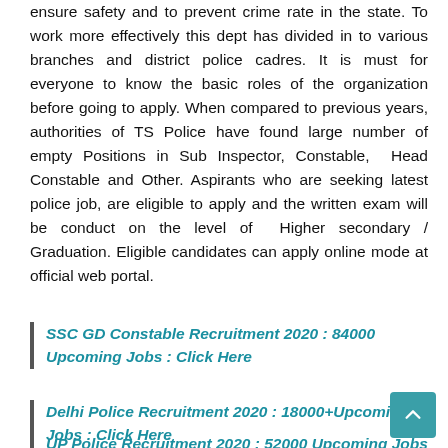ensure safety and to prevent crime rate in the state. To work more effectively this dept has divided in to various branches and district police cadres. It is must for everyone to know the basic roles of the organization before going to apply. When compared to previous years, authorities of TS Police have found large number of empty Positions in Sub Inspector, Constable, Head Constable and Other. Aspirants who are seeking latest police job, are eligible to apply and the written exam will be conduct on the level of Higher secondary / Graduation. Eligible candidates can apply online mode at official web portal.
SSC GD Constable Recruitment 2020 : 84000 Upcoming Jobs : Click Here
Delhi Police Recruitment 2020 : 18000+Upcoming Jobs : Click Here
UP Police Recruitment 2020 : 52000 Upcoming Jobs :